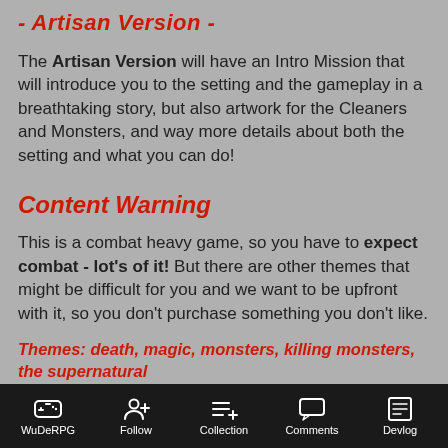- Artisan Version -
The Artisan Version will have an Intro Mission that will introduce you to the setting and the gameplay in a breathtaking story, but also artwork for the Cleaners and Monsters, and way more details about both the setting and what you can do!
Content Warning
This is a combat heavy game, so you have to expect combat - lot's of it! But there are other themes that might be difficult for you and we want to be upfront with it, so you don't purchase something you don't like.
Themes: death, magic, monsters, killing monsters, the supernatural
WuDeRPG  Follow  Collection  Comments  Devlog